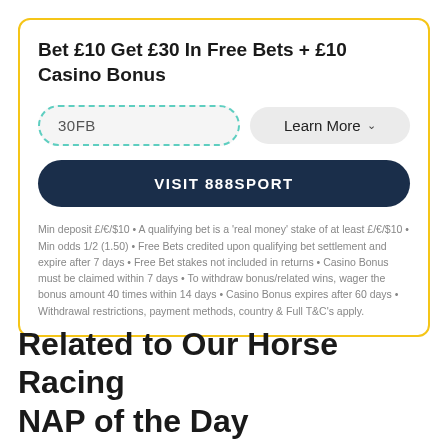Bet £10 Get £30 In Free Bets + £10 Casino Bonus
30FB
Learn More
VISIT 888SPORT
Min deposit £/€/$10 • A qualifying bet is a 'real money' stake of at least £/€/$10 • Min odds 1/2 (1.50) • Free Bets credited upon qualifying bet settlement and expire after 7 days • Free Bet stakes not included in returns • Casino Bonus must be claimed within 7 days • To withdraw bonus/related wins, wager the bonus amount 40 times within 14 days • Casino Bonus expires after 60 days • Withdrawal restrictions, payment methods, country & Full T&C's apply.
Related to Our Horse Racing NAP of the Day